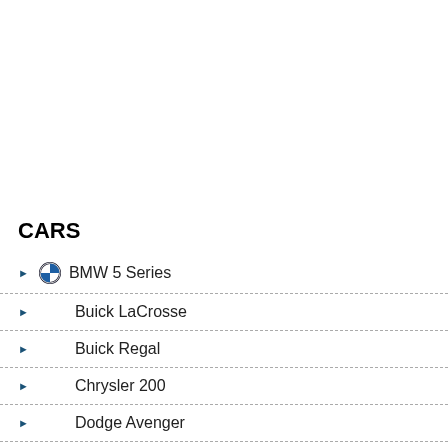CARS
BMW 5 Series
Buick LaCrosse
Buick Regal
Chrysler 200
Dodge Avenger
Ford Fusion